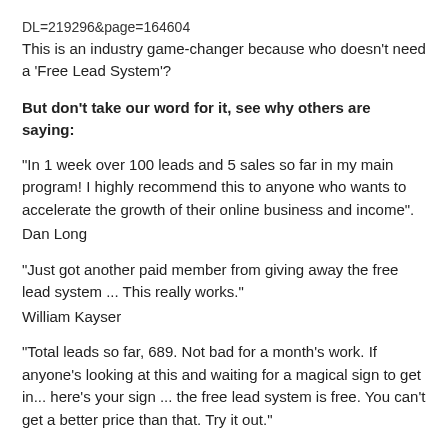DL=219296&page=164604
This is an industry game-changer because who doesn't need a 'Free Lead System'?
But don't take our word for it, see why others are saying:
"In 1 week over 100 leads and 5 sales so far in my main program! I highly recommend this to anyone who wants to accelerate the growth of their online business and income".
Dan Long
"Just got another paid member from giving away the free lead system ... This really works."
William Kayser
"Total leads so far, 689. Not bad for a month's work. If anyone's looking at this and waiting for a magical sign to get in... here's your sign ... the free lead system is free. You can't get a better price than that. Try it out."